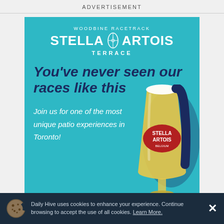ADVERTISEMENT
[Figure (illustration): Stella Artois Woodbine Racetrack Terrace advertisement on teal background with a Stella Artois beer glass illustration. Text reads: WOODBINE RACETRACK, STELLA ARTOIS TERRACE, You've never seen our races like this, Join us for one of the most unique patio experiences in Toronto!]
Daily Hive uses cookies to enhance your experience. Continue browsing to accept the use of all cookies. Learn More.